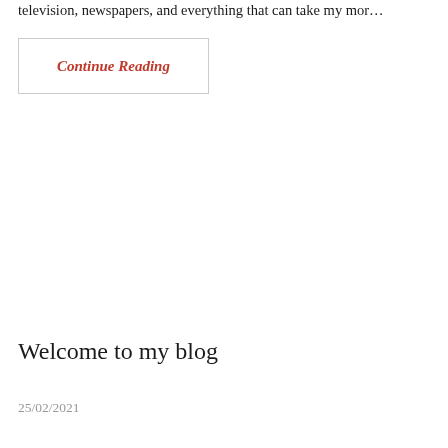television, newspapers, and everything that can take my mor...
Continue Reading
Welcome to my blog
25/02/2021